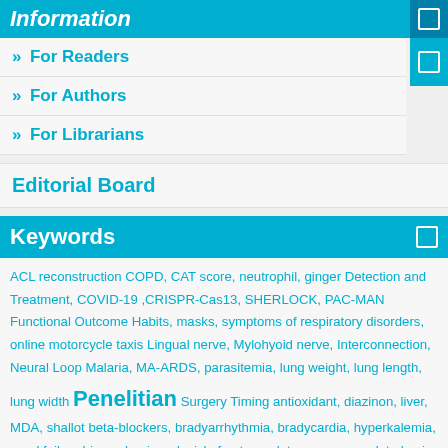Information
» For Readers
» For Authors
» For Librarians
Editorial Board
Keywords
ACL reconstruction COPD, CAT score, neutrophil, ginger Detection and Treatment, COVID-19 ,CRISPR-Cas13, SHERLOCK, PAC-MAN Functional Outcome Habits, masks, symptoms of respiratory disorders, online motorcycle taxis Lingual nerve, Mylohyoid nerve, Interconnection, Neural Loop Malaria, MA-ARDS, parasitemia, lung weight, lung length, lung width Penelitian Surgery Timing antioxidant, diazinon, liver, MDA, shallot beta-blockers, bradyarrhythmia, bradycardia, hyperkalemia, renal failure biomechanics, clavicle fracture, plate, screw complete basic immunization diabetes mellitus extranodal, lymphoma non hodgkin, testicular, chemotherapy, quality of life glaucoma glaucoma therapy penelitian research article